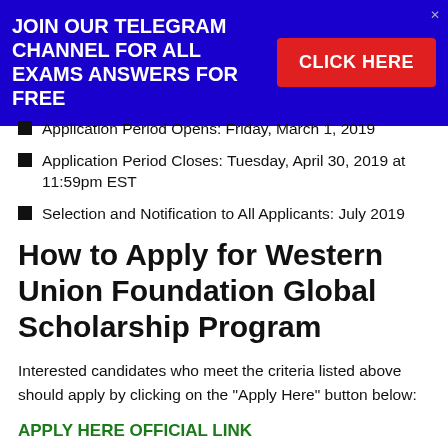JOIN OUR TELEGRAM CHANNEL FOR ALL EXAMS ANSWERS FOR FREE | CLICK HERE
Application Period Opens: Friday, March 1, 2019
Application Period Closes: Tuesday, April 30, 2019 at 11:59pm EST
Selection and Notification to All Applicants: July 2019
How to Apply for Western Union Foundation Global Scholarship Program
Interested candidates who meet the criteria listed above should apply by clicking on the “Apply Here” button below:
APPLY HERE OFFICIAL LINK
If you have any questions, please browse the information on our